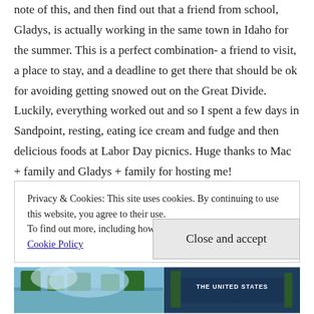note of this, and then find out that a friend from school, Gladys, is actually working in the same town in Idaho for the summer. This is a perfect combination- a friend to visit, a place to stay, and a deadline to get there that should be ok for avoiding getting snowed out on the Great Divide. Luckily, everything worked out and so I spent a few days in Sandpoint, resting, eating ice cream and fudge and then delicious foods at Labor Day picnics. Huge thanks to Mac + family and Gladys + family for hosting me!
Privacy & Cookies: This site uses cookies. By continuing to use this website, you agree to their use.
To find out more, including how to control cookies, see here: Cookie Policy
Close and accept
[Figure (photo): Bottom portion of a photograph showing trees and sky on the left, and a dark blue sign or banner reading 'THE UNITED STATES' on the right]